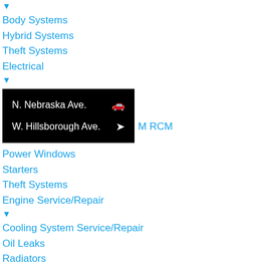▼
Body Systems
Hybrid Systems
Theft Systems
Electrical
▼
[Figure (screenshot): Map widget showing two street names: N. Nebraska Ave. with a car icon, and W. Hillsborough Ave. with a navigation arrow icon, on a black background]
M RCM
Power Windows
Starters
Theft Systems
Engine Service/Repair
▼
Cooling System Service/Repair
Oil Leaks
Radiators
Timing Belts